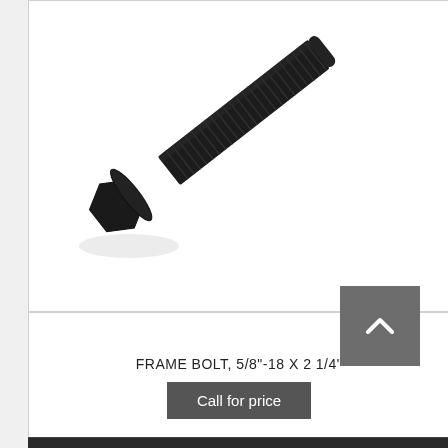[Figure (photo): Close-up photo of a black frame bolt (5/8"-18 x 2 1/4") with hex head and threaded shaft, positioned diagonally against a white background.]
FRAME BOLT, 5/8"-18 X 2 1/4"
Call for price